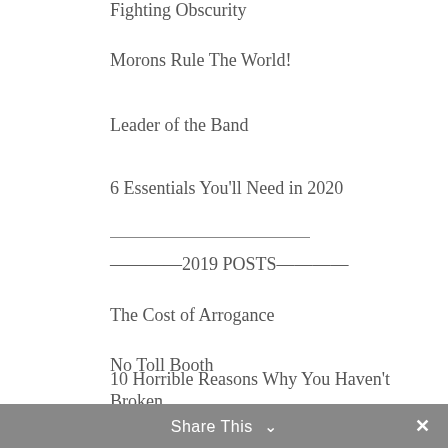Fighting Obscurity
Morons Rule The World!
Leader of the Band
6 Essentials You'll Need in 2020
————2019 POSTS————
The Cost of Arrogance
No Toll Booth
10 Horrible Reasons Why You Haven't Broken Through
Content Trumps Everything
Artists in Angst
Fatal Interruptions
Share This ∨  ✕